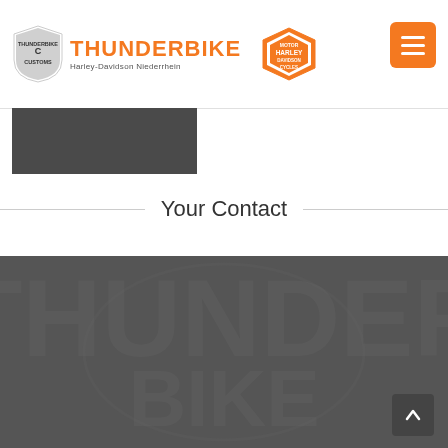[Figure (logo): Thunderbike Customs and Harley-Davidson Niederrhein logo in header with orange THUNDERBIKE text and hamburger menu button]
[Figure (photo): Dark gray image strip below header navigation]
Your Contact
[Figure (photo): Large dark gray section with faint Thunderbike watermark logo and a scroll-to-top arrow button in the bottom right]